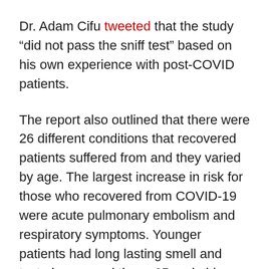Dr. Adam Cifu tweeted that the study “did not pass the sniff test” based on his own experience with post-COVID patients.
The report also outlined that there were 26 different conditions that recovered patients suffered from and they varied by age. The largest increase in risk for those who recovered from COVID-19 were acute pulmonary embolism and respiratory symptoms. Younger patients had long lasting smell and taste issues and those 65 and older had renal failure and thromboembolic events.